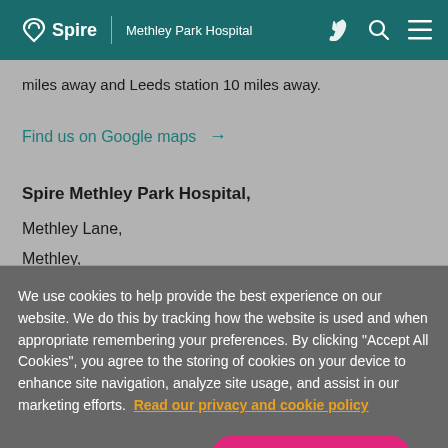Spire | Methley Park Hospital
miles away and Leeds station 10 miles away.
Find us on Google maps →
Spire Methley Park Hospital,
Methley Lane,
Methley,
We use cookies to help provide the best experience on our website. We do this by tracking how the website is used and when appropriate remembering your preferences. By clicking "Accept All Cookies", you agree to the storing of cookies on your device to enhance site navigation, analyze site usage, and assist in our marketing efforts. Read our privacy and cookie policy
Cookies Settings
Accept All Cookies